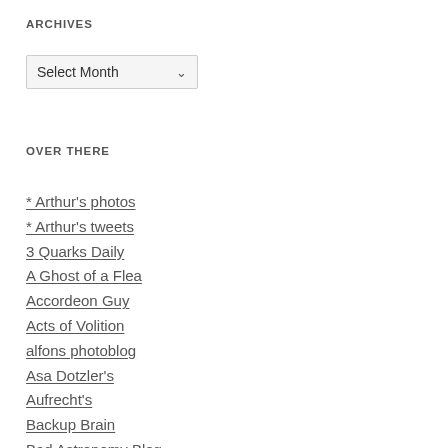ARCHIVES
[Figure (screenshot): A dropdown select input with label 'Select Month' and a down-arrow chevron on the right, styled with a light gray background and border.]
OVER THERE
* Arthur's photos
* Arthur's tweets
3 Quarks Daily
A Ghost of a Flea
Accordeon Guy
Acts of Volition
alfons photoblog
Asa Dotzler's
Aufrecht's
Backup Brain
Bad Astronomy Blog